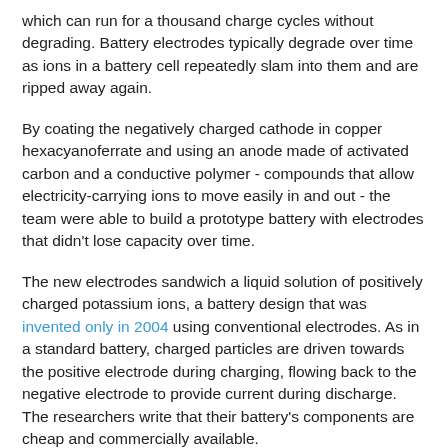which can run for a thousand charge cycles without degrading. Battery electrodes typically degrade over time as ions in a battery cell repeatedly slam into them and are ripped away again.
By coating the negatively charged cathode in copper hexacyanoferrate and using an anode made of activated carbon and a conductive polymer - compounds that allow electricity-carrying ions to move easily in and out - the team were able to build a prototype battery with electrodes that didn't lose capacity over time.
The new electrodes sandwich a liquid solution of positively charged potassium ions, a battery design that was invented only in 2004 using conventional electrodes. As in a standard battery, charged particles are driven towards the positive electrode during charging, flowing back to the negative electrode to provide current during discharge. The researchers write that their battery's components are cheap and commercially available.
Most energy-storage technologies are too expensive or